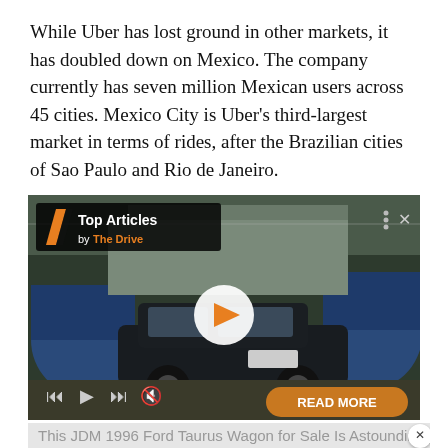While Uber has lost ground in other markets, it has doubled down on Mexico. The company currently has seven million Mexican users across 45 cities. Mexico City is Uber's third-largest market in terms of rides, after the Brazilian cities of Sao Paulo and Rio de Janeiro.
[Figure (screenshot): Video player widget showing a car (dark station wagon) parked in an industrial area. Overlay shows 'Top Articles by The Drive' badge with orange slash logo, play button in center, media controls at bottom left, and orange 'READ MORE' button at bottom right. Below the video is a partially visible article title.]
This JDM 1996 Ford Taurus Wagon for Sale Is Astoundingly Cool